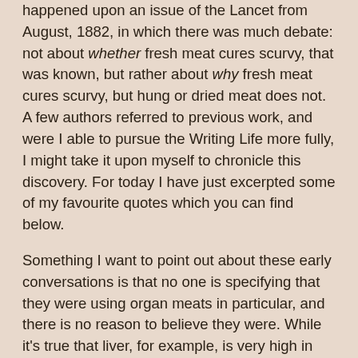happened upon an issue of the Lancet from August, 1882, in which there was much debate: not about whether fresh meat cures scurvy, that was known, but rather about why fresh meat cures scurvy, but hung or dried meat does not. A few authors referred to previous work, and were I able to pursue the Writing Life more fully, I might take it upon myself to chronicle this discovery. For today I have just excerpted some of my favourite quotes which you can find below.
Something I want to point out about these early conversations is that no one is specifying that they were using organ meats in particular, and there is no reason to believe they were. While it's true that liver, for example, is very high in vitamin C, the fact is that there is enough in plain old skeletal muscle meat to do the trick.
The USDA database is willfully wrong
If you go to the standard reference, the USDA database (or its proxy on self.com), it lists most meat flesh as containing no vitamin C at all. This is nonsensical. Not only does it contradict reports such as from the Lancet, but anywhere there is collagen, there is bound to be some vitamin C. I